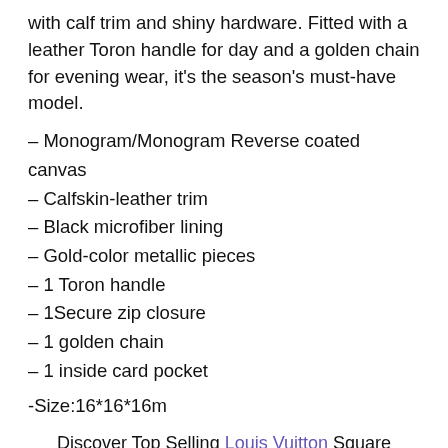with calf trim and shiny hardware. Fitted with a leather Toron handle for day and a golden chain for evening wear, it's the season's must-have model.
– Monogram/Monogram Reverse coated canvas
– Calfskin-leather trim
– Black microfiber lining
– Gold-color metallic pieces
– 1 Toron handle
– 1Secure zip closure
– 1 golden chain
– 1 inside card pocket
-Size:16*16*16m
Discover Top Selling Louis Vuitton Square Monogram Bag M43589 2018, Louis Vuitton Handbags Store For Thanksgiving Day At Darshkhetan.com, Shop a huge selection. Order Opportunity Follow With Big Discounts , Both men and women will get shopping fun there.